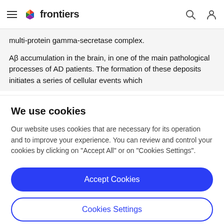frontiers
multi-protein gamma-secretase complex.
Aβ accumulation in the brain, in one of the main pathological processes of AD patients. The formation of these deposits initiates a series of cellular events which
We use cookies
Our website uses cookies that are necessary for its operation and to improve your experience. You can review and control your cookies by clicking on "Accept All" or on "Cookies Settings".
Accept Cookies
Cookies Settings